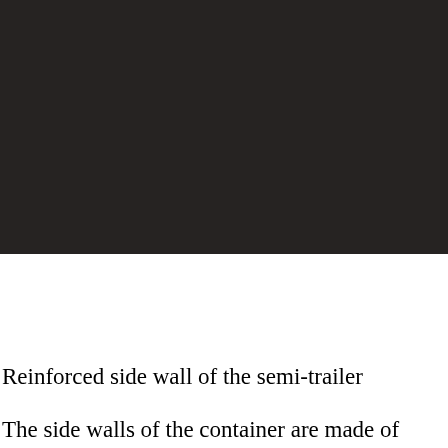[Figure (photo): Dark/black photograph showing a reinforced side wall of a semi-trailer. The image is very dark with minimal visible detail.]
Reinforced side wall of the semi-trailer
The side walls of the container are made of